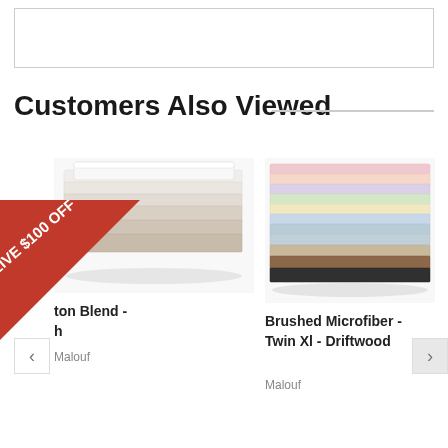[Figure (other): Placeholder box at top of page]
Customers Also Viewed
[Figure (photo): Stacked folded sheets in white and beige/tan colors - Cotton Blend product]
*RECEIVE $100 OFF
ton Blend - h
Malouf
[Figure (photo): Stacked folded sheets in multiple pastel colors - Brushed Microfiber product]
Brushed Microfiber - Twin Xl - Driftwood
Malouf